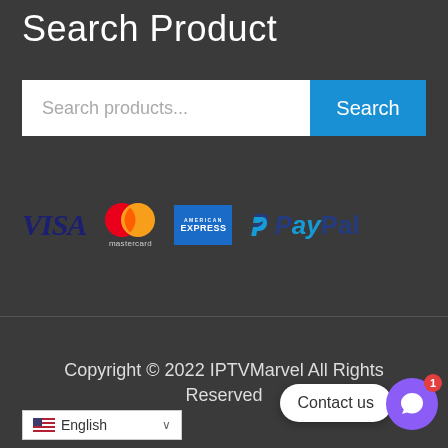Search Product
[Figure (screenshot): Search bar with text input placeholder 'Search products...' and a blue 'Search' button]
[Figure (logo): Payment method logos: VISA, Mastercard, American Express, PayPal]
Copyright © 2022 IPTVMarvel All Rights Reserved
[Figure (screenshot): Language selector showing English with US flag and dropdown arrow, Contact us bubble, and purple chat button with badge showing 1]